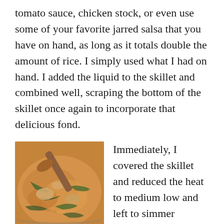tomato sauce, chicken stock, or even use some of your favorite jarred salsa that you have on hand, as long as it totals double the amount of rice. I simply used what I had on hand. I added the liquid to the skillet and combined well, scraping the bottom of the skillet once again to incorporate that delicious fond.
[Figure (photo): A skillet containing a creamy orange-brown sauce with chicken and green vegetables (likely zucchini or green pepper strips), with a wooden spoon resting in the pan.]
Immediately, I covered the skillet and reduced the heat to medium low and left to simmer covered for 25 minutes. Whatever you do, DO NOT remove the lid. The key to perfect rice, alone or with a protein or